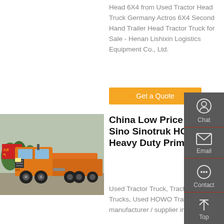Head 6X4 from Used Tractor Head Truck Germany Actros 6X4 Second Hand Trailer Head Tractor Truck for Sale - Henan Lishixin Logistics Equipment Co., Ltd.
Get a Quote
[Figure (photo): Orange Sinotruk HOWO heavy duty tractor truck parked outdoors with trees and a red banner in background]
China Low Price Used Sino Sinotruk HOWO Heavy Duty Prime
Used Tractor Truck, Tractor Trucks, Used HOWO Tractor Truck manufacturer / supplier in...